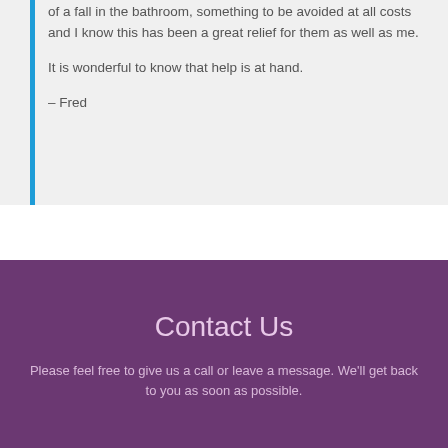of a fall in the bathroom, something to be avoided at all costs and I know this has been a great relief for them as well as me.

It is wonderful to know that help is at hand.

– Fred
Contact Us
Please feel free to give us a call or leave a message. We'll get back to you as soon as possible.